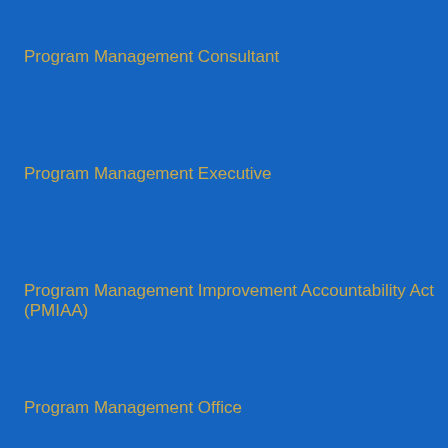Program Management Consultant
Program Management Executive
Program Management Improvement Accountability Act (PMIAA)
Program Management Office
Program Management Office Executive
Program Managers
Programme Management
Project
project